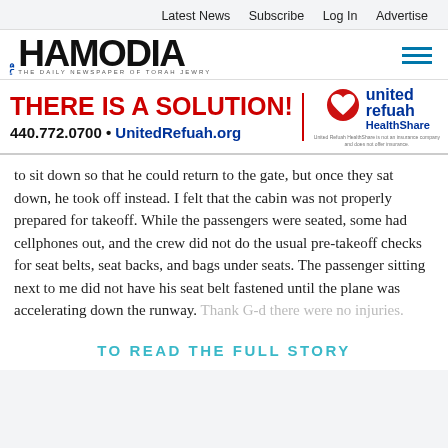Latest News   Subscribe   Log In   Advertise
[Figure (logo): Hamodia newspaper logo - THE DAILY NEWSPAPER OF TORAH JEWRY with hamburger menu icon]
[Figure (infographic): United Refuah HealthShare advertisement banner: THERE IS A SOLUTION! 440.772.0700 • UnitedRefuah.org with heart logo. Disclaimer: United Refuah HealthShare is not an insurance company and does not offer insurance.]
to sit down so that he could return to the gate, but once they sat down, he took off instead. I felt that the cabin was not properly prepared for takeoff. While the passengers were seated, some had cellphones out, and the crew did not do the usual pre-takeoff checks for seat belts, seat backs, and bags under seats. The passenger sitting next to me did not have his seat belt fastened until the plane was accelerating down the runway. Thank G-d there were no injuries.
TO READ THE FULL STORY